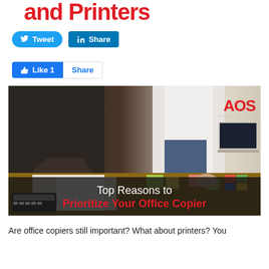and Printers
[Figure (other): Twitter Tweet button and LinkedIn Share button (social media share buttons)]
[Figure (other): Facebook Like 1 button and Facebook Share button (social media like/share buttons)]
[Figure (photo): Photo of two people working at a desk with papers, sticky notes, and a laptop. AOS (American Office Solutions) logo in upper right. Overlay text reads 'Top Reasons to Prioritize Your Office Copier' where 'Prioritize Your Office Copier' is in red.]
Are office copiers still important? What about printers? You